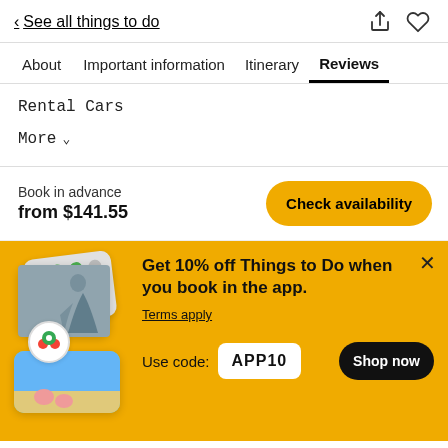< See all things to do
About   Important information   Itinerary   Reviews
Rental Cars
More ∨
Book in advance
from $141.55
Check availability
[Figure (infographic): Promotional banner with stacked photo cards showing a hiker and beach scene, TripAdvisor owl logo badge, and green dots rating UI]
Get 10% off Things to Do when you book in the app.
Terms apply
Use code: APP10
Shop now